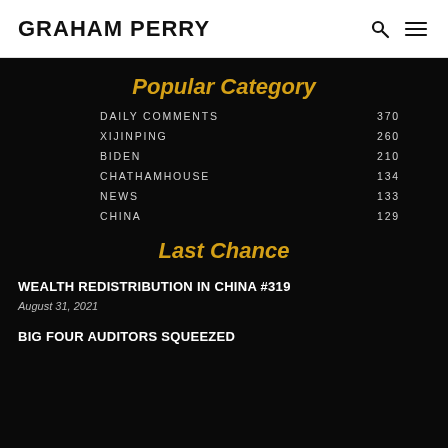GRAHAM PERRY
Popular Category
DAILY COMMENTS 370
XIJINPING 260
BIDEN 210
CHATHAMHOUSE 134
NEWS 133
CHINA 129
Last Chance
WEALTH REDISTRIBUTION IN CHINA #319
August 31, 2021
BIG FOUR AUDITORS SQUEEZED